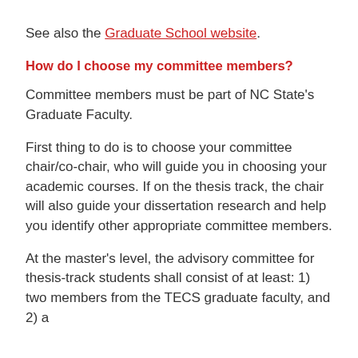See also the Graduate School website.
How do I choose my committee members?
Committee members must be part of NC State's Graduate Faculty.
First thing to do is to choose your committee chair/co-chair, who will guide you in choosing your academic courses. If on the thesis track, the chair will also guide your dissertation research and help you identify other appropriate committee members.
At the master's level, the advisory committee for thesis-track students shall consist of at least: 1) two members from the TECS graduate faculty, and 2) a